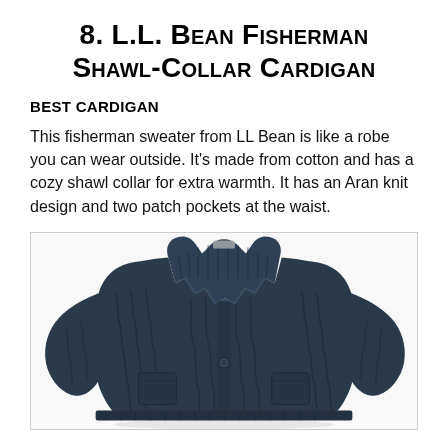8. L.L. Bean Fisherman Shawl-Collar Cardigan
BEST CARDIGAN
This fisherman sweater from LL Bean is like a robe you can wear outside. It's made from cotton and has a cozy shawl collar for extra warmth. It has an Aran knit design and two patch pockets at the waist.
[Figure (photo): A dark navy blue L.L. Bean Fisherman Shawl-Collar Cardigan sweater with Aran knit cable design and shawl collar, photographed on a white background.]